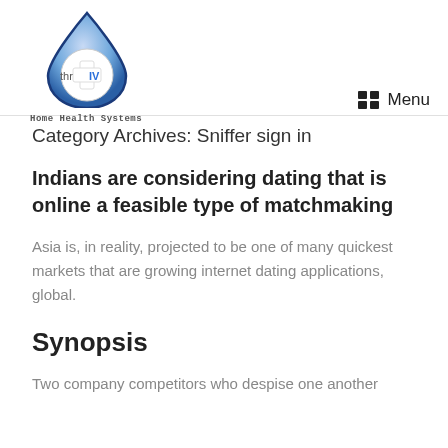[Figure (logo): thrIV Home Health Systems logo — a blue water droplet with a white medical cross and the text 'thrIV' inside]
Home Health Systems
Menu
Category Archives: Sniffer sign in
Indians are considering dating that is online a feasible type of matchmaking
Asia is, in reality, projected to be one of many quickest markets that are growing internet dating applications, global.
Synopsis
Two company competitors who despise one another